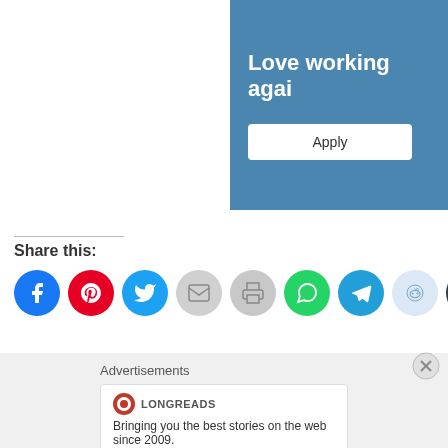[Figure (other): Advertisement banner with blue background showing 'Love working agai...' text and an Apply button]
Share this:
[Figure (infographic): Row of social share icon circles: Facebook, Pinterest, Twitter, Email, Print, WhatsApp, Telegram, Reddit, Tumblr]
Loading...
Advertisements
[Figure (other): Longreads advertisement card with logo and text 'Bringing you the best stories on the web since 2009.']